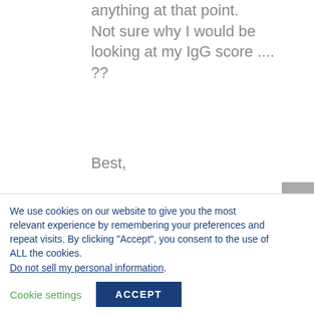anything at that point. Not sure why I would be looking at my IgG score ....??
Best,
James on April 30, 2019 at 11:06 pm
Hi Miles. That's great news. Have you been retested
We use cookies on our website to give you the most relevant experience by remembering your preferences and repeat visits. By clicking “Accept”, you consent to the use of ALL the cookies. Do not sell my personal information.
Cookie settings
ACCEPT